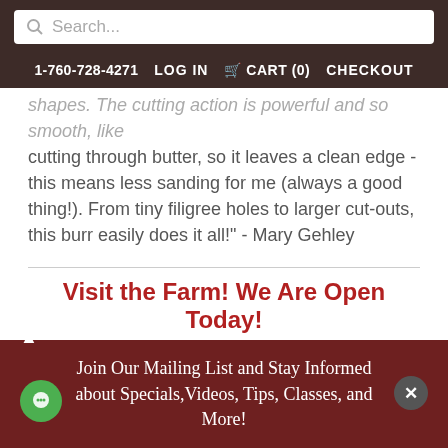Search...
1-760-728-4271  LOG IN  CART (0)  CHECKOUT
shapes. The cutting action is powerful and so smooth, like cutting through butter, so it leaves a clean edge - this means less sanding for me (always a good thing!). From tiny filigree holes to larger cut-outs, this burr easily does it all!" - Mary Gehley
Visit the Farm! We Are Open Today!
Attention Farm Visitors: Please follow directions to the Farm from our website, click here. Google Maps and Apple Maps are giving incorrect directions. Do not take Tenaja Trail. Tail...
Join Our Mailing List and Stay Informed about Specials, Videos, Tips, Classes, and More!